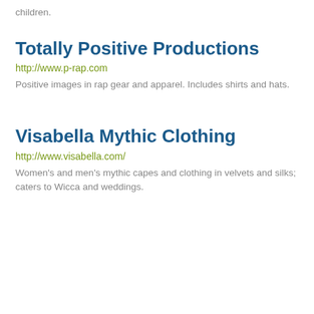children.
Totally Positive Productions
http://www.p-rap.com
Positive images in rap gear and apparel. Includes shirts and hats.
Visabella Mythic Clothing
http://www.visabella.com/
Women's and men's mythic capes and clothing in velvets and silks; caters to Wicca and weddings.